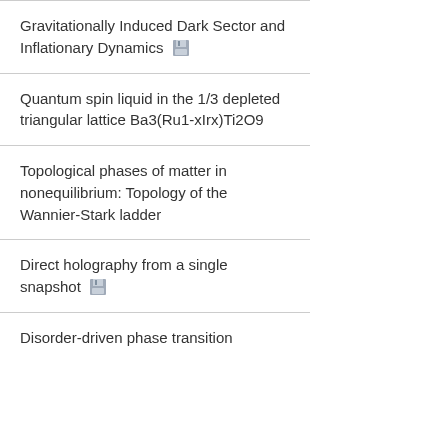Gravitationally Induced Dark Sector and Inflationary Dynamics
Quantum spin liquid in the 1/3 depleted triangular lattice Ba3(Ru1-xIrx)Ti2O9
Topological phases of matter in nonequilibrium: Topology of the Wannier-Stark ladder
Direct holography from a single snapshot
Disorder-driven phase transition